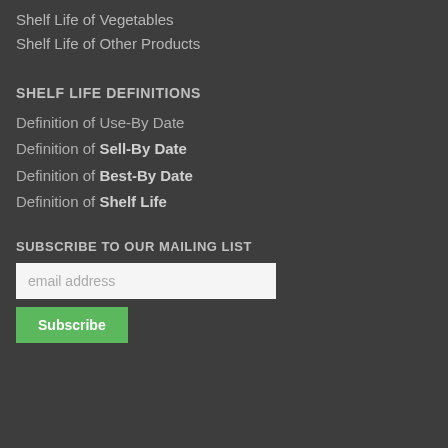Shelf Life of Vegetables
Shelf Life of Other Products
SHELF LIFE DEFINITIONS
Definition of Use-By Date
Definition of Sell-By Date
Definition of Best-By Date
Definition of Shelf Life
SUBSCRIBE TO OUR MAILING LIST
email address
Subscribe